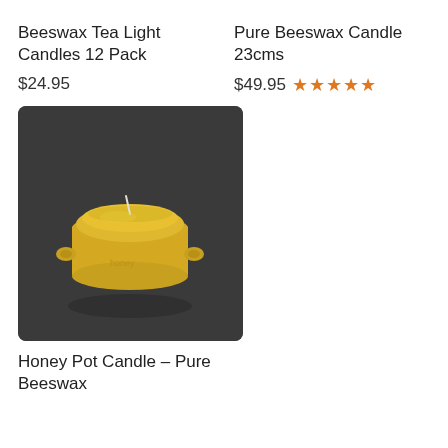Beeswax Tea Light Candles 12 Pack
$24.95
Pure Beeswax Candle 23cms
$49.95 ★★★★★
[Figure (photo): Yellow beeswax honey pot shaped candle with a wick, sitting on a dark gray surface. The candle has small handle stubs on the sides and appears to have 'honey' text embossed on it.]
Honey Pot Candle – Pure Beeswax